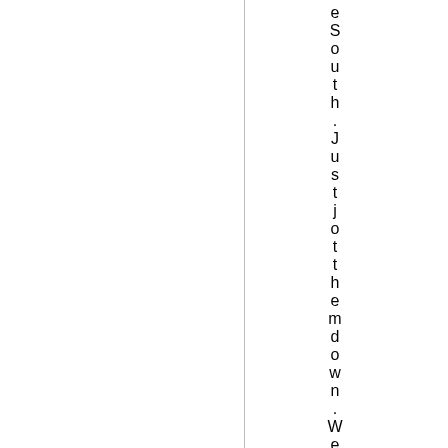eSouth. Just jot them down. We will e